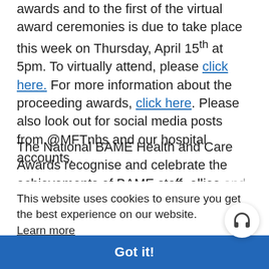awards and to the first of the virtual award ceremonies is due to take place this week on Thursday, April 15th at 5pm. To virtually attend, please click here. For more information about the proceeding awards, click here. Please also look out for social media posts from @MFTnhs and our hospital accounts.
The National BAME Health and Care Awards recognise and celebrate the achievements of BAME staff, allies and support networks from across the health and care fields in making significant improvements in career development support for BAME staff. This includes exceptional initiatives and leadership, and the improvement of services, or access to services for people from BAME communities.
This website uses cookies to ensure you get the best experience on our website.
Learn more
Got it!
Award winners will have access to on-going peer